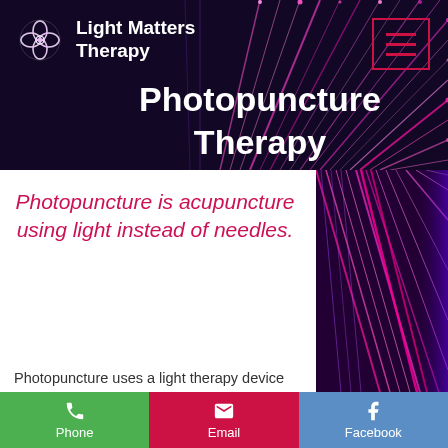[Figure (screenshot): Dark navy/purple header background with fiber optic light streaks in pink, magenta, and purple colors, serving as the website hero banner background.]
Light Matters Therapy
Photopuncture Therapy
Photopuncture is acupuncture using light instead of needles.
Photopuncture uses a light therapy device with a focused beam (also known as torches or hand-held lights) to specifically
Phone  Email  Facebook